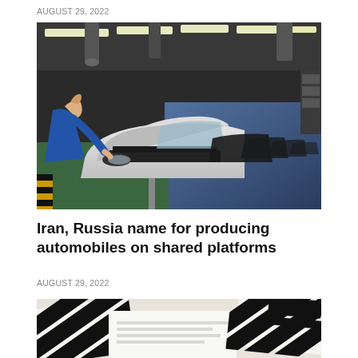AUGUST 29, 2022
[Figure (photo): Worker in blue uniform leaning over the engine of a white car on an automobile assembly line in a large factory with overhead lighting and multiple cars lined up]
Iran, Russia name for producing automobiles on shared platforms
AUGUST 29, 2022
[Figure (photo): Partial view of documents or papers with black and white diagonal stripes pattern, blurred close-up shot]